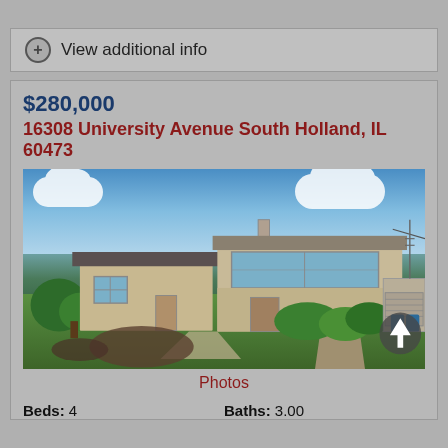View additional info
$280,000
16308 University Avenue South Holland, IL 60473
[Figure (photo): Exterior photo of a ranch-style house with blue sky and clouds, green lawn, shrubs, driveway, and a garage visible to the right. A scroll-up arrow button overlaid in bottom right.]
Photos
Beds: 4    Baths: 3.00